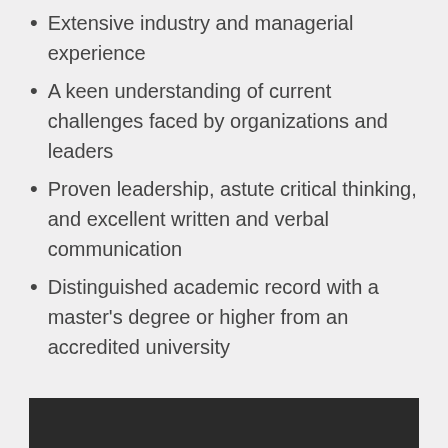Extensive industry and managerial experience
A keen understanding of current challenges faced by organizations and leaders
Proven leadership, astute critical thinking, and excellent written and verbal communication
Distinguished academic record with a master's degree or higher from an accredited university